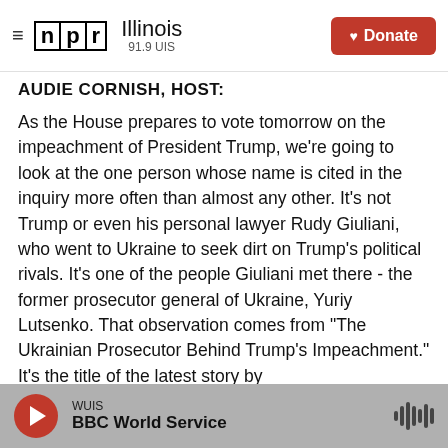NPR Illinois 91.9 UIS — Donate
AUDIE CORNISH, HOST:
As the House prepares to vote tomorrow on the impeachment of President Trump, we're going to look at the one person whose name is cited in the inquiry more often than almost any other. It's not Trump or even his personal lawyer Rudy Giuliani, who went to Ukraine to seek dirt on Trump's political rivals. It's one of the people Giuliani met there - the former prosecutor general of Ukraine, Yuriy Lutsenko. That observation comes from "The Ukrainian Prosecutor Behind Trump's Impeachment." It's the title of the latest story by
WUIS — BBC World Service